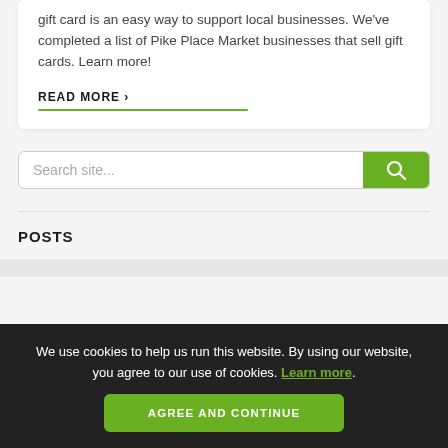gift card is an easy way to support local businesses. We've completed a list of Pike Place Market businesses that sell gift cards. Learn more!
READ MORE >
[Figure (other): Search bar with green search button and magnifying glass icon]
POSTS
We use cookies to help us run this website. By using our website, you agree to our use of cookies. Learn more.
AGREE AND CONTINUE